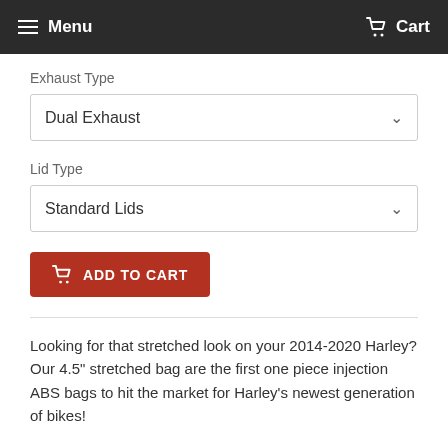Menu  Cart
Exhaust Type
Dual Exhaust
Lid Type
Standard Lids
ADD TO CART
Looking for that stretched look on your 2014-2020 Harley? Our 4.5" stretched bag are the first one piece injection ABS bags to hit the market for Harley's newest generation of bikes!